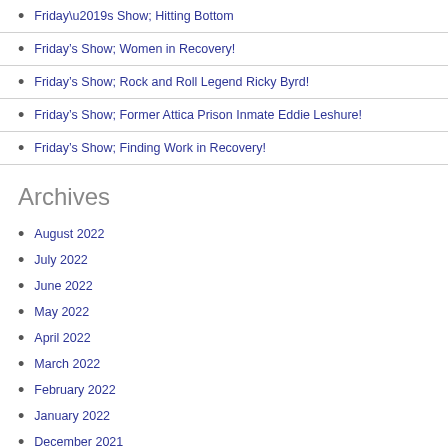Friday’s Show; Hitting Bottom
Friday’s Show; Women in Recovery!
Friday’s Show; Rock and Roll Legend Ricky Byrd!
Friday’s Show; Former Attica Prison Inmate Eddie Leshure!
Friday’s Show; Finding Work in Recovery!
Archives
August 2022
July 2022
June 2022
May 2022
April 2022
March 2022
February 2022
January 2022
December 2021